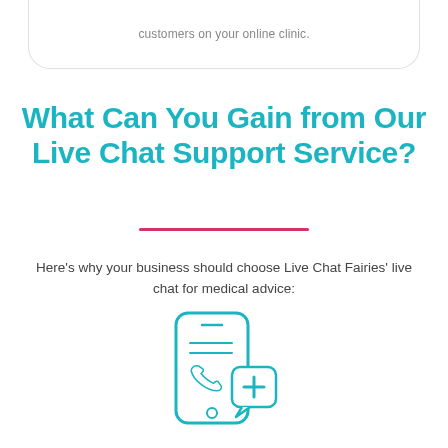customers on your online clinic.
What Can You Gain from Our Live Chat Support Service?
Here's why your business should choose Live Chat Fairies' live chat for medical advice:
[Figure (illustration): Icon of a smartphone with a phone handset and a medical cross/chat bubble overlay, drawn in teal outline style]